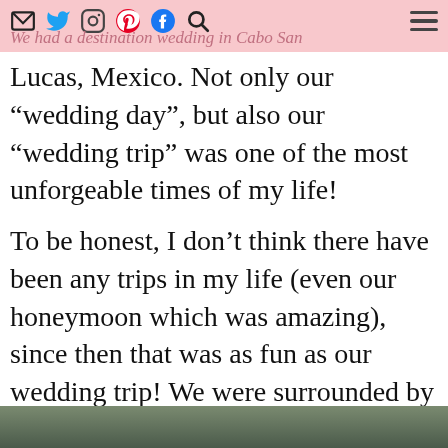We had a destination wedding in Cabo San
Lucas, Mexico. Not only our “wedding day”, but also our “wedding trip” was one of the most unforgeable times of my life!
To be honest, I don’t think there have been any trips in my life (even our honeymoon which was amazing), since then that was as fun as our wedding trip! We were surrounded by family and friends that they truly cared about us and flew from all over the world to celebrate this special day with us!
[Figure (photo): Partial photo visible at the bottom of the page, appears to be an outdoor scene]